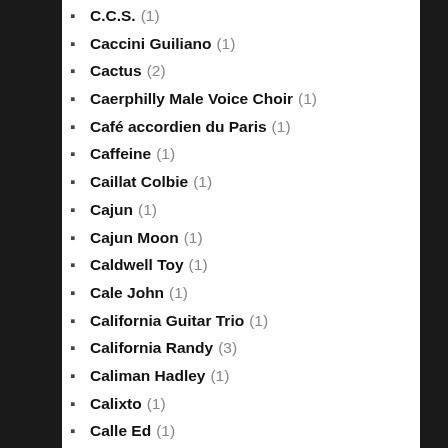C.C.S. (1)
Caccini Guiliano (1)
Cactus (2)
Caerphilly Male Voice Choir (1)
Café accordien du Paris (1)
Caffeine (1)
Caillat Colbie (1)
Cajun (1)
Cajun Moon (1)
Caldwell Toy (1)
Cale John (1)
California Guitar Trio (1)
California Randy (3)
Caliman Hadley (1)
Calixto (1)
Calle Ed (1)
Calloway Cab (1)
Camel (3)
Camerata Cassovia (1)
Cameron John (1)
Camp Hamilton (1)
Campbell Ian (1)